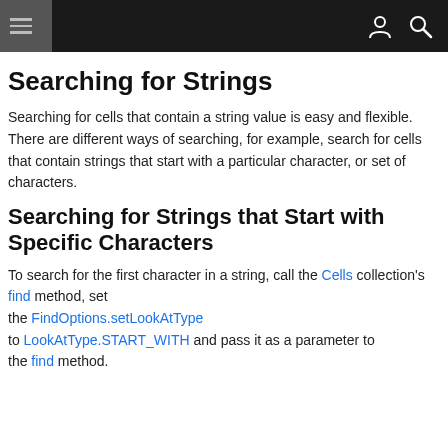navigation header with hamburger menu, person icon, and search icon
Searching for Strings
Searching for cells that contain a string value is easy and flexible. There are different ways of searching, for example, search for cells that contain strings that start with a particular character, or set of characters.
Searching for Strings that Start with Specific Characters
To search for the first character in a string, call the Cells collection's find method, set the FindOptions.setLookAtType to LookAtType.START_WITH and pass it as a parameter to the find method.